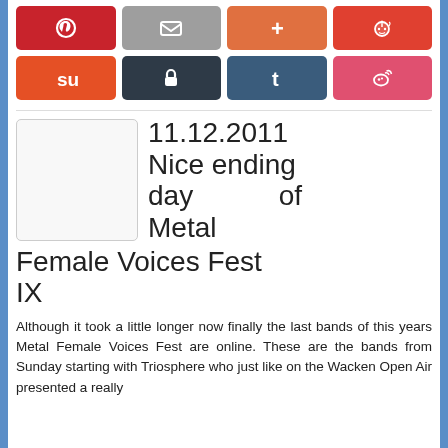[Figure (screenshot): Social media share buttons row 1: Pinterest (red), Email (gray), Plus/Google+ (orange), Reddit (red-orange)]
[Figure (screenshot): Social media share buttons row 2: StumbleUpon (orange-red), Lock/private (dark navy), Tumblr (dark blue), Weibo (pink-red)]
[Figure (photo): Blank white thumbnail image placeholder with light border]
11.12.2011 Nice ending day of Metal Female Voices Fest IX
Although it took a little longer now finally the last bands of this years Metal Female Voices Fest are online. These are the bands from Sunday starting with Triosphere who just like on the Wacken Open Air presented a really